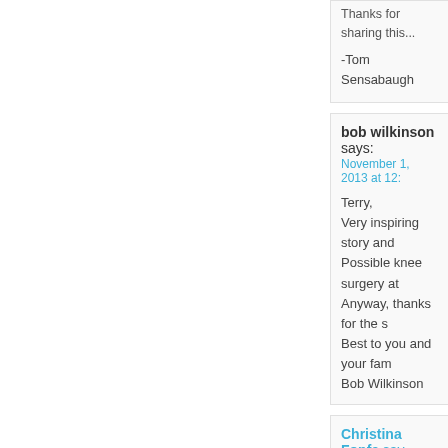-Tom Sensabaugh
bob wilkinson says:
November 1, 2013 at 12:

Terry,
Very inspiring story and
Possible knee surgery at
Anyway, thanks for the s
Best to you and your fam
Bob Wilkinson
Christina Fonfe says
November 1, 2013 at 12:

Fantastic, I really so enjo
you must have all derive
Patrick Quinn says:
November 1, 2013 at 3:2

I envy you Terry and y
Gibraltar when I was eigh
A most interesting point